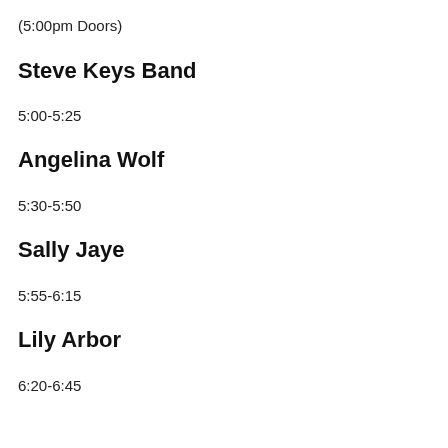(5:00pm Doors)
Steve Keys Band
5:00-5:25
Angelina Wolf
5:30-5:50
Sally Jaye
5:55-6:15
Lily Arbor
6:20-6:45